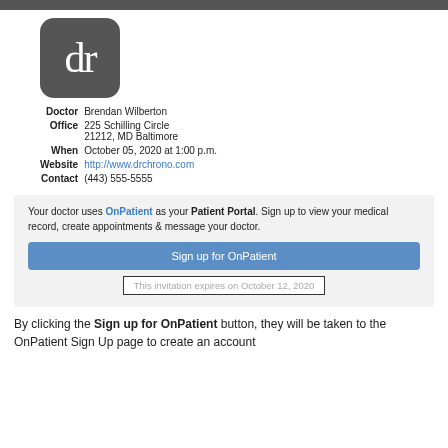[Figure (logo): drchrono logo: dark rounded square with white 'dr' text]
| Doctor | Brendan Wilberton |
| Office | 225 Schilling Circle
21212, MD Baltimore |
| When | October 05, 2020 at 1:00 p.m. |
| Website | http://www.drchrono.com |
| Contact | (443) 555-5555 |
Your doctor uses OnPatient as your Patient Portal. Sign up to view your medical record, create appointments & message your doctor.
Sign up for OnPatient
This invitation expires on October 12, 2020
By clicking the Sign up for OnPatient button, they will be taken to the OnPatient Sign Up page to create an account